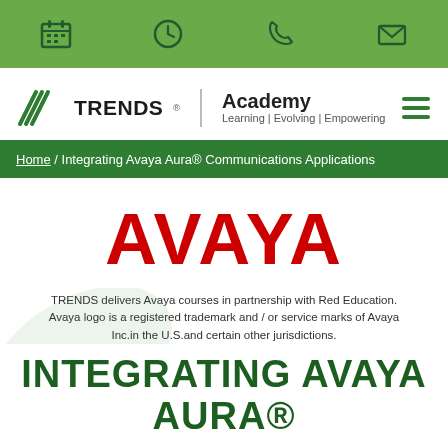[Figure (infographic): Green top bar with four icons: calendar, clock, phone, envelope]
[Figure (logo): TRENDS Academy logo with tagline 'Learning | Evolving | Empowering' and hamburger menu icon]
Home / Integrating Avaya Aura® Communications Applications
[Figure (logo): AVAYA logo in large red bold text]
TRENDS delivers Avaya courses in partnership with Red Education. Avaya logo is a registered trademark and / or service marks of Avaya Inc.in the U.S.and certain other jurisdictions.
INTEGRATING AVAYA AURA® COMMUNICATIONS